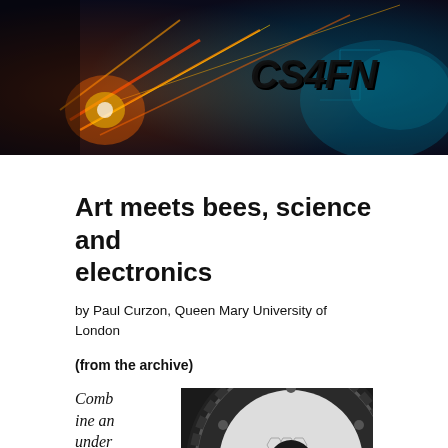[Figure (photo): CS4FN banner header image with dramatic sparks/lightning effects and CS4FN logo in bold italic black text]
Art meets bees, science and electronics
by Paul Curzon, Queen Mary University of London
(from the archive)
Combine an understanding
[Figure (photo): Close-up circular mechanical/organic structure resembling a honeycomb or gear wheel with white cellular pattern on dark background]